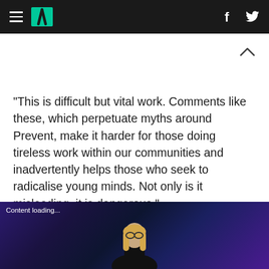HuffPost navigation with hamburger menu, logo, Facebook and Twitter icons
“This is difficult but vital work. Comments like these, which perpetuate myths around Prevent, make it harder for those doing tireless work within our communities and inadvertently helps those who seek to radicalise young minds. Not only is it misleading, it is dangerous.”
[Figure (photo): Dark blue/purple background with a woman with long blonde hair and glasses on stage, partially visible. Caption overlay: Content loading...]